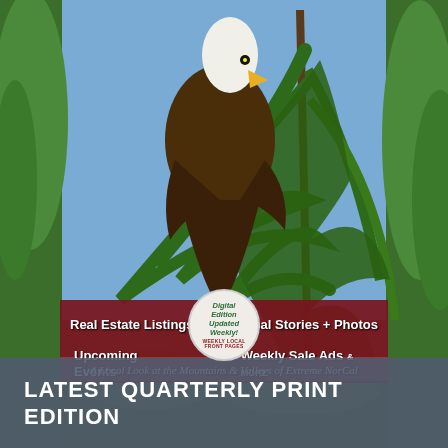[Figure (photo): A bald eagle perched in a pine tree with blue sky background, flanked by green forest trees on either side. The eagle is viewed from below, showing its white head and dark brown body among pine needles.]
Real Estate Listings
Local Stories + Photos
Upcoming Events
Weekly Sale Ads & MORE
Digital Edition Updated Weekly! WEEKLY LOCAL FRONT PAGES
A Local Look at the Mountains & Valleys of Extreme NorCal
LATEST QUARTERLY PRINT EDITION